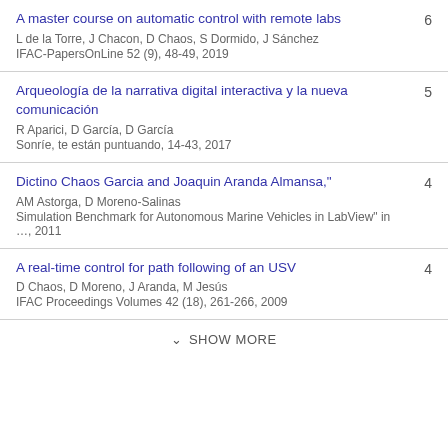A master course on automatic control with remote labs
L de la Torre, J Chacon, D Chaos, S Dormido, J Sánchez
IFAC-PapersOnLine 52 (9), 48-49, 2019
6
Arqueología de la narrativa digital interactiva y la nueva comunicación
R Aparici, D García, D García
Sonríe, te están puntuando, 14-43, 2017
5
Dictino Chaos Garcia and Joaquin Aranda Almansa,"
AM Astorga, D Moreno-Salinas
Simulation Benchmark for Autonomous Marine Vehicles in LabView" in …, 2011
4
A real-time control for path following of an USV
D Chaos, D Moreno, J Aranda, M Jesús
IFAC Proceedings Volumes 42 (18), 261-266, 2009
4
SHOW MORE